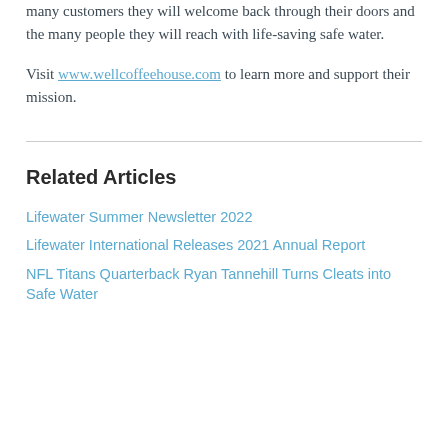many customers they will welcome back through their doors and the many people they will reach with life-saving safe water.
Visit www.wellcoffeehouse.com to learn more and support their mission.
Related Articles
Lifewater Summer Newsletter 2022
Lifewater International Releases 2021 Annual Report
NFL Titans Quarterback Ryan Tannehill Turns Cleats into Safe Water